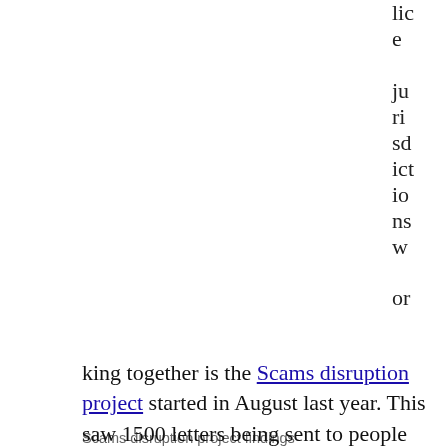lic e ju ri sd ict io ns w or
Scams disruption project findings
king together is the Scams disruption project started in August last year. This saw 1500 letters being sent to people across Australia identified as sending money overseas, warning them that it may be a potential scam. This project has a great page on how to identify romance scams. 60% of the transactions stopped. For the first time this clearly identified social media as a source of the initial contact, though dating sites still were the source of 74% of